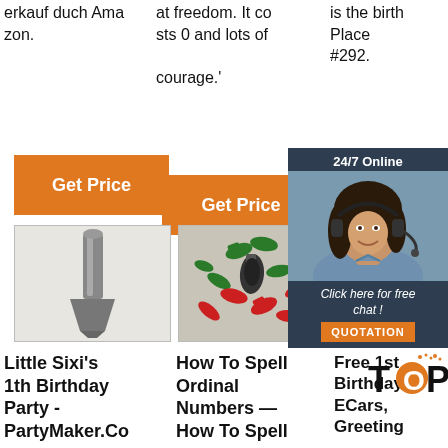erkauf duch Amazon.
at freedom. It costs 0 and lots of courage.'
is the birth Place #292.
[Figure (other): Orange 'Get Price' button, column 1]
[Figure (other): Orange 'Get Price' button, column 2]
[Figure (other): Orange 'G' button partially visible, column 3]
[Figure (other): 24/7 Online chat widget with woman wearing headset, dark blue background, 'Click here for free chat!' text and orange QUOTATION button]
[Figure (photo): Photo of a metal chisel/scraper tool on light background]
[Figure (photo): Photo of red, green and black plastic wire connectors/clamps scattered on grey background]
[Figure (photo): Partial photo with grey background]
Little Sixi's 1th Birthday Party - PartyMaker.Co
How To Spell Ordinal Numbers — How To Spell
Free 1st Birthday ECars, Greeting